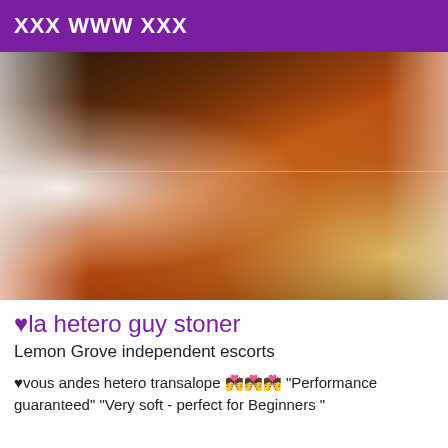XXX WWW XXX
[Figure (photo): Photo of a person in a bikini bottom, heavily orange-tinted, standing indoors with tiled floor and white rounded furniture visible.]
♥la hetero guy stoner
Lemon Grove independent escorts
♥vous andes hetero transalope 💏💏💏 "Performance guaranteed" "Very soft - perfect for Beginners "